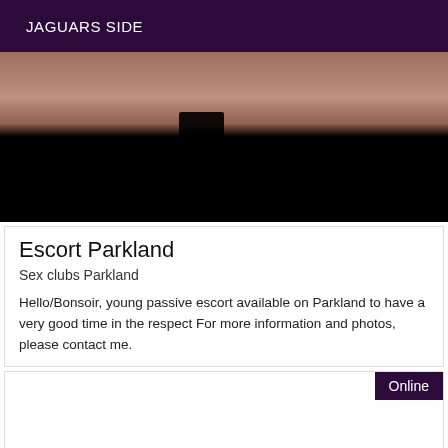JAGUARS SIDE
[Figure (photo): A dark photograph showing skin tones at top fading to black at the bottom]
Escort Parkland
Sex clubs Parkland
Hello/Bonsoir, young passive escort available on Parkland to have a very good time in the respect For more information and photos, please contact me.
Online